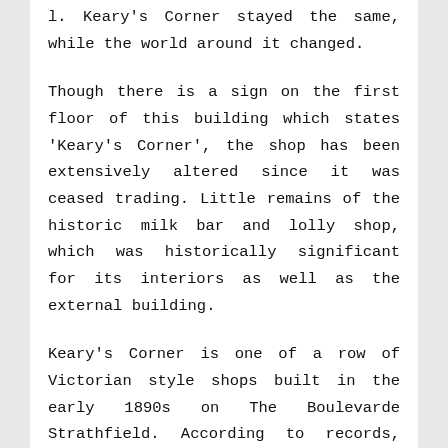l. Keary's Corner stayed the same, while the world around it changed.
Though there is a sign on the first floor of this building which states 'Keary's Corner', the shop has been extensively altered since it was ceased trading. Little remains of the historic milk bar and lolly shop, which was historically significant for its interiors as well as the external building.
Keary's Corner is one of a row of Victorian style shops built in the early 1890s on The Boulevarde Strathfield. According to records, these shops were owned by Randolph Nott (1822-1906), a man of many interests: financier, land agent and architect. It is possible Nott designed these shops as he gained his